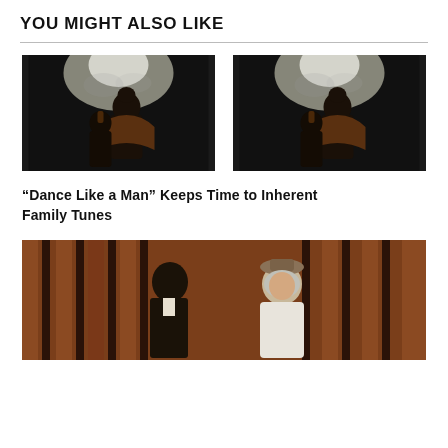YOU MIGHT ALSO LIKE
[Figure (photo): Dark dramatic photo showing silhouette of figure with light behind, smoky atmosphere]
[Figure (photo): Dark dramatic photo showing silhouette of figure with light behind, smoky atmosphere (duplicate)]
“Dance Like a Man” Keeps Time to Inherent Family Tunes
[Figure (photo): Theater production photo showing two people, man and older woman, against wooden slat backdrop]